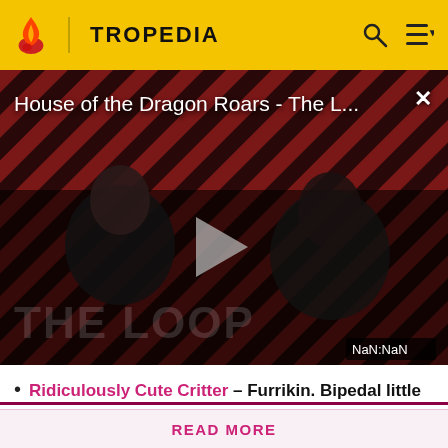TROPEDIA
[Figure (screenshot): Video player showing 'House of the Dragon Roars - The L...' with a striped red/dark background, two people silhouetted, a play button in the center, 'THE LOOP' text overlay, and NaN:NaN timecode]
Ridiculously Cute Critter – Furrikin. Bipedal little
Before making a single edit, Tropedia EXPECTS our site policy and manual of style to be followed. Failure to do so may
READ MORE